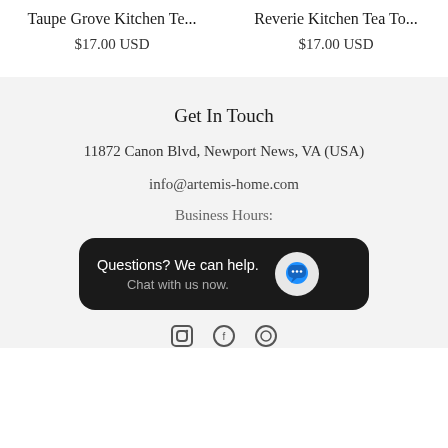Taupe Grove Kitchen Te...
$17.00 USD
Reverie Kitchen Tea To...
$17.00 USD
Get In Touch
11872 Canon Blvd, Newport News, VA (USA)
info@artemis-home.com
Business Hours:
[Figure (other): Chat widget popup with dark background showing 'Questions? We can help. Chat with us now.' and a blue speech bubble icon]
[Figure (other): Social media icons row at bottom]